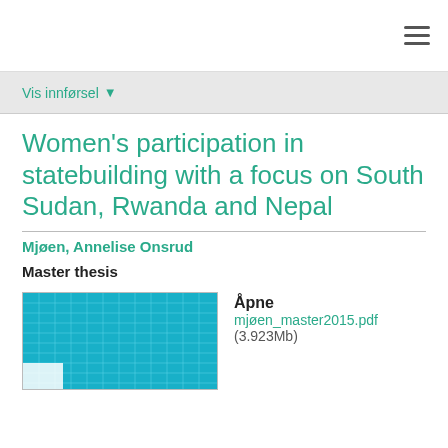≡
Vis innførsel ▾
Women's participation in statebuilding with a focus on South Sudan, Rwanda and Nepal
Mjøen, Annelise Onsrud
Master thesis
[Figure (other): Thumbnail preview of PDF document with teal/cyan grid pattern]
Åpne
mjøen_master2015.pdf
(3.923Mb)